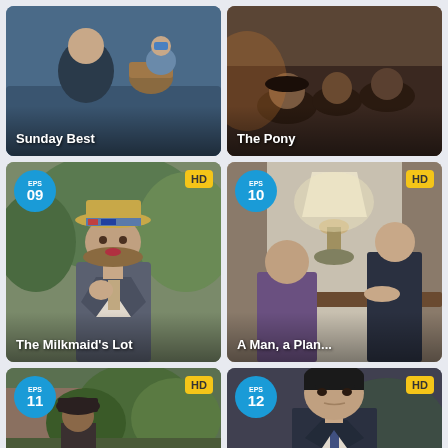[Figure (screenshot): Video thumbnail card: Episode titled 'Sunday Best' - period drama scene with woman and child on train/couch with basket]
[Figure (screenshot): Video thumbnail card: Episode titled 'The Pony' - period drama scene with group of men in dark setting]
[Figure (screenshot): Video thumbnail card: Episode 09, HD badge, titled 'The Milkmaid's Lot' - period drama scene with woman in 1920s hat and suit]
[Figure (screenshot): Video thumbnail card: Episode 10, HD badge, titled 'A Man, a Plan...' - period drama scene with two people at table with lamp]
[Figure (screenshot): Video thumbnail card: Episode 11, HD badge - period drama scene with man in hat outdoors near building]
[Figure (screenshot): Video thumbnail card: Episode 12, HD badge - period drama scene with man in suit looking stern]